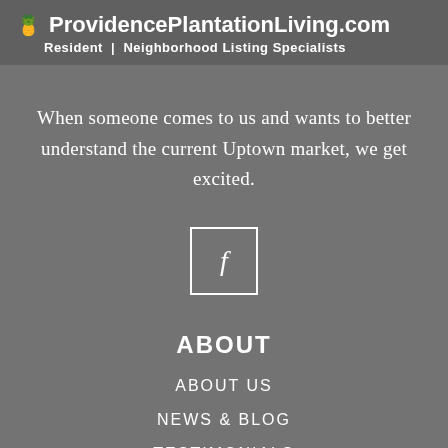🍍 ProvidencePlantationLiving.com Resident | Neighborhood Listing Specialists
When someone comes to us and wants to better understand the current Uptown market, we get excited.
[Figure (logo): Facebook icon: white square border with italic lowercase f inside]
ABOUT
ABOUT US
NEWS & BLOG
TESTIMONIALS